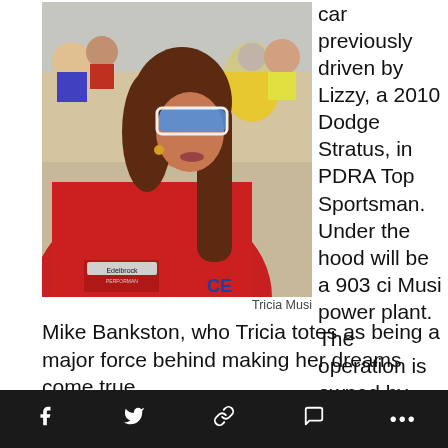[Figure (photo): Woman in red racing jacket with sunglasses, crowd in background. Photo of Tricia Musi.]
Tricia Musi
car previously driven by Lizzy, a 2010 Dodge Stratus, in PDRA Top Sportsman. Under the hood will be a 903 ci Musi power plant. The operation is owned by Mike Bankston, who Tricia totes as being a major force behind making her dreams come true.
"I do hope the quest for something" Tricia said of
f     🐦  🔗  💬  ⋯